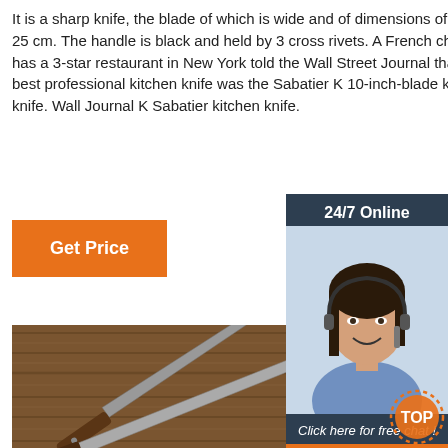It is a sharp knife, the blade of which is wide and of dimensions of 20 to 25 cm. The handle is black and held by 3 cross rivets. A French chef who has a 3-star restaurant in New York told the Wall Street Journal that his best professional kitchen knife was the Sabatier K 10-inch-blade kitchen knife. Wall Journal K Sabatier kitchen knife.
[Figure (infographic): Orange 'Get Price' button]
[Figure (infographic): 24/7 Online chat widget with photo of woman wearing headset, 'Click here for free chat!' text, and orange QUOTATION button]
[Figure (photo): Photo of kitchen knives on a wooden surface]
[Figure (other): Orange TOP button with dotted border in bottom right corner]